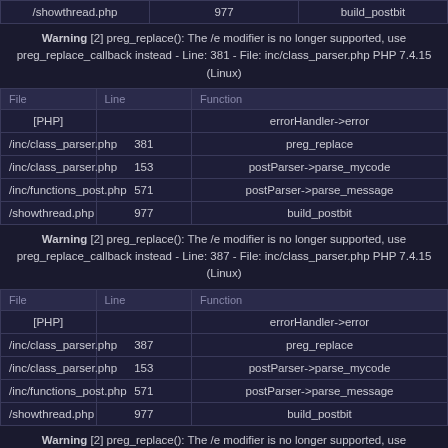| File | Line | Function |
| --- | --- | --- |
| /showthread.php | 977 | build_postbit |
Warning [2] preg_replace(): The /e modifier is no longer supported, use preg_replace_callback instead - Line: 381 - File: inc/class_parser.php PHP 7.4.15 (Linux)
| File | Line | Function |
| --- | --- | --- |
| [PHP] |  | errorHandler->error |
| /inc/class_parser.php | 381 | preg_replace |
| /inc/class_parser.php | 153 | postParser->parse_mycode |
| /inc/functions_post.php | 571 | postParser->parse_message |
| /showthread.php | 977 | build_postbit |
Warning [2] preg_replace(): The /e modifier is no longer supported, use preg_replace_callback instead - Line: 387 - File: inc/class_parser.php PHP 7.4.15 (Linux)
| File | Line | Function |
| --- | --- | --- |
| [PHP] |  | errorHandler->error |
| /inc/class_parser.php | 387 | preg_replace |
| /inc/class_parser.php | 153 | postParser->parse_mycode |
| /inc/functions_post.php | 571 | postParser->parse_message |
| /showthread.php | 977 | build_postbit |
Warning [2] preg_replace(): The /e modifier is no longer supported, use preg_replace_callback instead - Line: 158 - File: inc/plugins/wowitem.php PHP 7.4.15